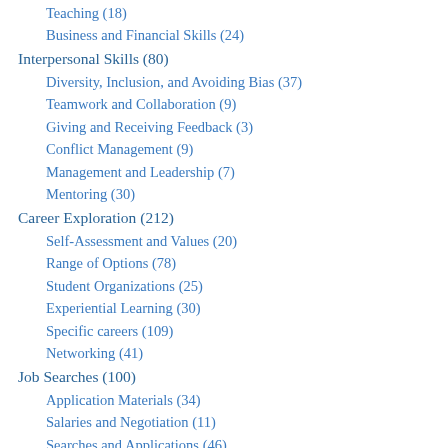Teaching (18)
Business and Financial Skills (24)
Interpersonal Skills (80)
Diversity, Inclusion, and Avoiding Bias (37)
Teamwork and Collaboration (9)
Giving and Receiving Feedback (3)
Conflict Management (9)
Management and Leadership (7)
Mentoring (30)
Career Exploration (212)
Self-Assessment and Values (20)
Range of Options (78)
Student Organizations (25)
Experiential Learning (30)
Specific careers (109)
Networking (41)
Job Searches (100)
Application Materials (34)
Salaries and Negotiation (11)
Searches and Applications (46)